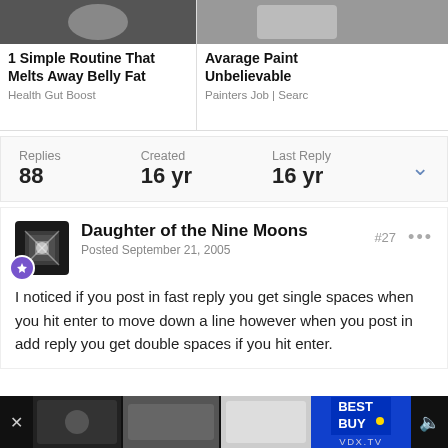[Figure (screenshot): Ad panel left: image of person with bowl, headline '1 Simple Routine That Melts Away Belly Fat', source 'Health Gut Boost']
[Figure (screenshot): Ad panel right: image partially visible, headline 'Avarage Paint Unbelievable', source 'Painters Job | Search']
Replies 88 | Created 16 yr | Last Reply 16 yr
Daughter of the Nine Moons
Posted September 21, 2005
#27
I noticed if you post in fast reply you get single spaces when you hit enter to move down a line however when you post in add reply you get double spaces if you hit enter.
[Figure (screenshot): Bottom advertisement banner for Best Buy on VDX.TV]